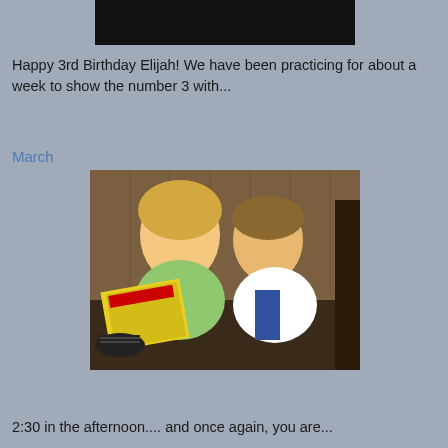[Figure (photo): Partial view of a photo at the top of the page, mostly black/dark, cropped]
Happy 3rd Birthday Elijah! We have been practicing for about a week to show the number 3 with...
March
[Figure (photo): Two children sitting together reading a book titled 'Saber's Children', a blonde girl in green shirt and a boy in blue and white shirt, in a wood-paneled room]
2:30 in the afternoon.... and once again, you are...